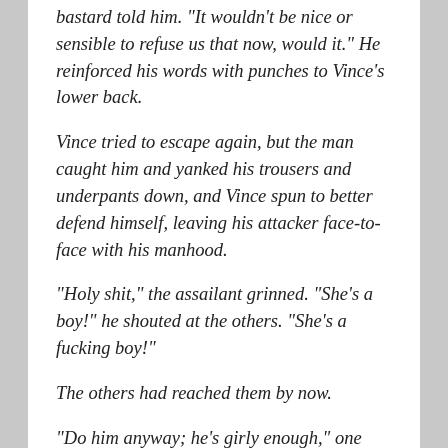bastard told him. "It wouldn't be nice or sensible to refuse us that now, would it." He reinforced his words with punches to Vince's lower back.
Vince tried to escape again, but the man caught him and yanked his trousers and underpants down, and Vince spun to better defend himself, leaving his attacker face-to-face with his manhood.
"Holy shit," the assailant grinned. "She's a boy!" he shouted at the others. "She's a fucking boy!"
The others had reached them by now.
"Do him anyway; he's girly enough," one suggested.
There was a general holler of agreement.